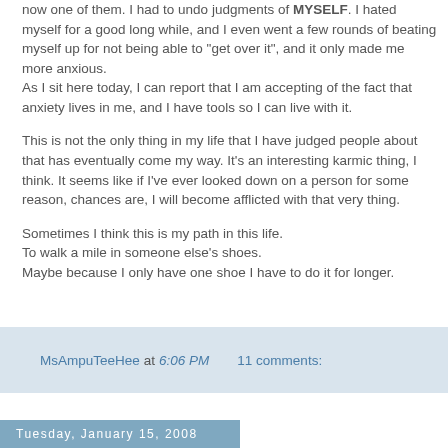now one of them. I had to undo judgments of MYSELF. I hated myself for a good long while, and I even went a few rounds of beating myself up for not being able to "get over it", and it only made me more anxious.
As I sit here today, I can report that I am accepting of the fact that anxiety lives in me, and I have tools so I can live with it.

This is not the only thing in my life that I have judged people about that has eventually come my way. It's an interesting karmic thing, I think. It seems like if I've ever looked down on a person for some reason, chances are, I will become afflicted with that very thing.

Sometimes I think this is my path in this life.
To walk a mile in someone else's shoes.
Maybe because I only have one shoe I have to do it for longer.
MsAmpuTeeHee at 6:06 PM    11 comments:
Tuesday, January 15, 2008